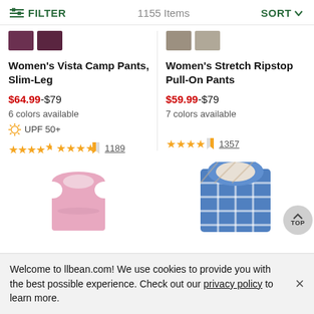FILTER   1155 Items   SORT
[Figure (photo): Color swatches for Women's Vista Camp Pants - two dark burgundy/purple fabric swatches]
[Figure (photo): Color swatches for Women's Stretch Ripstop Pull-On Pants - two taupe/khaki fabric swatches]
Women's Vista Camp Pants, Slim-Leg
$64.99-$79
6 colors available
UPF 50+
★★★★½  1189
Women's Stretch Ripstop Pull-On Pants
$59.99-$79
7 colors available
★★★★½  1357
[Figure (photo): Pink sleeveless tank top product image]
[Figure (photo): Blue and white plaid hooded shirt product image]
Welcome to llbean.com! We use cookies to provide you with the best possible experience. Check out our privacy policy to learn more.